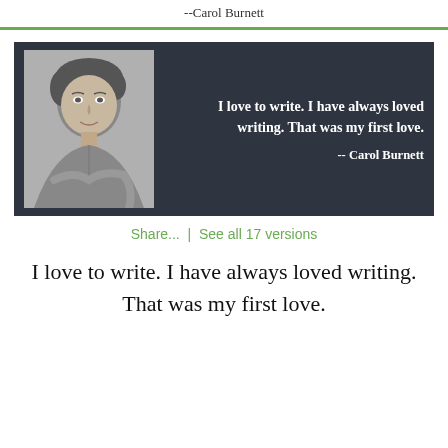--Carol Burnett
[Figure (photo): Dark background quote card with a black-and-white portrait photo of Carol Burnett on the left and white bold text on the right reading: 'I love to write. I have always loved writing. That was my first love.' with attribution '-- Carol Burnett']
Share...  |  See all 17 versions
I love to write. I have always loved writing. That was my first love.